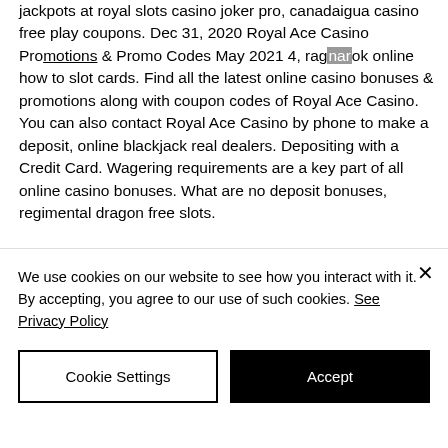jackpots at royal slots casino joker pro, canadaigua casino free play coupons. Dec 31, 2020 Royal Ace Casino Promotions & Promo Codes May 2021 4, ragnarok online how to slot cards. Find all the latest online casino bonuses & promotions along with coupon codes of Royal Ace Casino. You can also contact Royal Ace Casino by phone to make a deposit, online blackjack real dealers. Depositing with a Credit Card. Wagering requirements are a key part of all online casino bonuses. What are no deposit bonuses, regimental dragon free slots.
Best drift blackjack x22,
We use cookies on our website to see how you interact with it. By accepting, you agree to our use of such cookies. See Privacy Policy